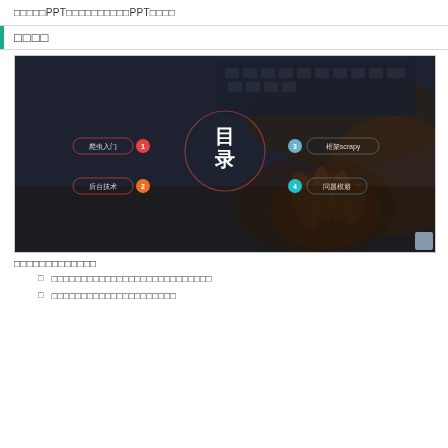□□□□□PPT□□□□□□□□□□PPT□□□□
□□□□
[Figure (screenshot): A dark-themed PPT slide showing a table of contents (目录) with four menu items: 1. 爬虫入门 (red circle), 2. 后台技术 (orange circle), 3. 框架scrapy (blue circle), 4. 问题模避 (cyan circle), arranged around a central circle with 目录 text. Background shows a hand on a desk with keyboard.]
□□□□□□□□□□□□□
□□□□□□□□□□□□□□□□□□□□□□□□□□□
□□□□□□□□□□□□□□□□□□□□□